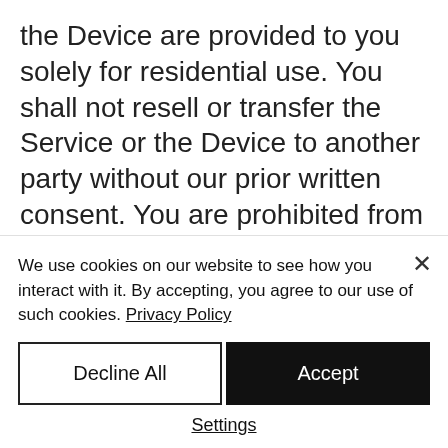the Device are provided to you solely for residential use. You shall not resell or transfer the Service or the Device to another party without our prior written consent. You are prohibited from using the Service or the Device for auto-dialing, continuous or extensive call forwarding, telemarketing (including, without limitation, charitable or political solicitation or polling), fax or voicemail broadcasting or fax or
We use cookies on our website to see how you interact with it. By accepting, you agree to our use of such cookies. Privacy Policy
Decline All
Accept
Settings